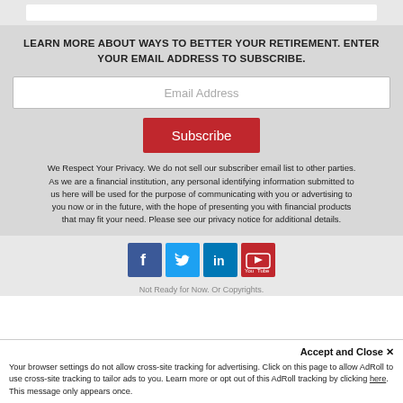LEARN MORE ABOUT WAYS TO BETTER YOUR RETIREMENT. ENTER YOUR EMAIL ADDRESS TO SUBSCRIBE.
Email Address
Subscribe
We Respect Your Privacy. We do not sell our subscriber email list to other parties. As we are a financial institution, any personal identifying information submitted to us here will be used for the purpose of communicating with you or advertising to you now or in the future, with the hope of presenting you with financial products that may fit your need. Please see our privacy notice for additional details.
[Figure (infographic): Social media icons: Facebook (blue), Twitter (light blue), LinkedIn (dark blue), YouTube (red)]
Not Ready for Now. Or Copyrights.
Accept and Close ✕
Your browser settings do not allow cross-site tracking for advertising. Click on this page to allow AdRoll to use cross-site tracking to tailor ads to you. Learn more or opt out of this AdRoll tracking by clicking here. This message only appears once.